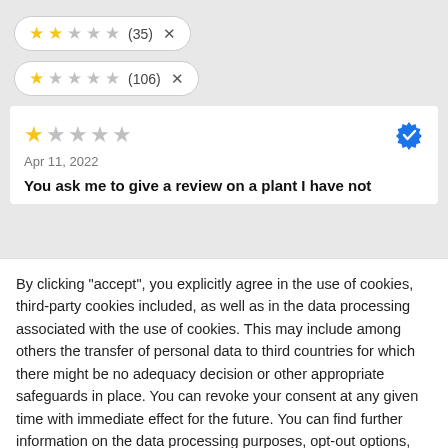[Figure (infographic): Filter pill showing 2 filled stars, 3 empty stars, count (35) and X button]
[Figure (infographic): Filter pill showing 1 filled star, 4 empty stars, count (106) and X button]
[Figure (infographic): Review card with 1 filled star, 4 empty stars, verified badge, date Apr 11 2022, and review title]
You ask me to give a review on a plant I have not
By clicking "accept", you explicitly agree in the use of cookies, third-party cookies included, as well as in the data processing associated with the use of cookies. This may include among others the transfer of personal data to third countries for which there might be no adequacy decision or other appropriate safeguards in place. You can revoke your consent at any given time with immediate effect for the future. You can find further information on the data processing purposes, opt-out options, your rights, and the risks of data transfers to third countries here.
ACCEPT